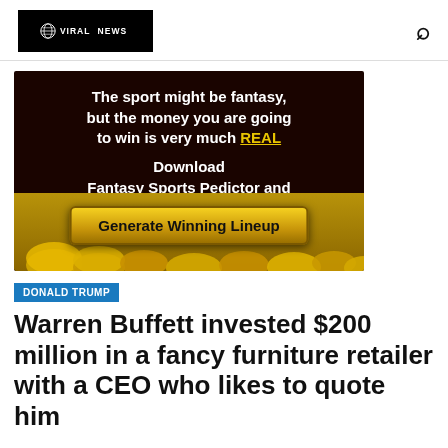VIRAL NEWS [logo]
[Figure (illustration): Advertisement banner with dark brown/black background showing gold coins. Text reads: 'The sport might be fantasy, but the money you are going to win is very much REAL'. Below: 'Download Fantasy Sports Pedictor and' with a gold button reading 'Generate Winning Lineup'. Bottom shows pile of gold coins.]
DONALD TRUMP
Warren Buffett invested $200 million in a fancy furniture retailer with a CEO who likes to quote him